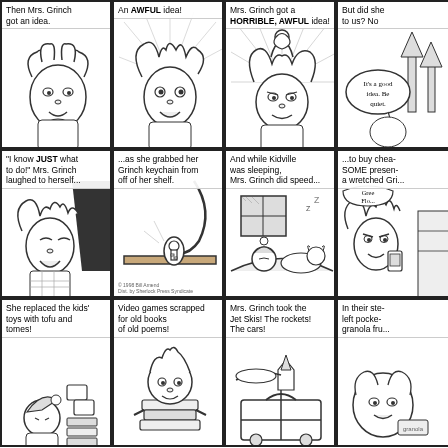[Figure (illustration): Comic strip panel 1: Mrs. Grinch thinking, text 'Then Mrs. Grinch got an idea.']
[Figure (illustration): Comic strip panel 2: Mrs. Grinch with wild hair, text 'An AWFUL idea!']
[Figure (illustration): Comic strip panel 3: Mrs. Grinch with swirly thought effects, text 'Mrs. Grinch got a HORRIBLE, AWFUL idea!']
[Figure (illustration): Comic strip panel 4 (partial): Mrs. Grinch, speech bubble 'It's a good idea. Be quiet.' text 'But did she ... to us? No']
[Figure (illustration): Comic strip panel 5: Mrs. Grinch laughing, text '"I know JUST what to do!" Mrs. Grinch laughed to herself...']
[Figure (illustration): Comic strip panel 6: Grinch keychain on shelf, text '...as she grabbed her Grinch keychain from off of her shelf.']
[Figure (illustration): Comic strip panel 7: Children sleeping in bed, text 'And while Kidville was sleeping, Mrs. Grinch did speed...']
[Figure (illustration): Comic strip panel 8 (partial): Mrs. Grinch shopping, text '...to buy chea... SOME presen... a wretched Gri...']
[Figure (illustration): Comic strip panel 9: Mrs. Grinch replacing toys, text 'She replaced the kids\' toys with tofu and tomes!']
[Figure (illustration): Comic strip panel 10: Mrs. Grinch with books, text 'Video games scrapped for old books of old poems!']
[Figure (illustration): Comic strip panel 11: Jet skis and rockets, text 'Mrs. Grinch took the Jet Skis! The rockets! The cars!']
[Figure (illustration): Comic strip panel 12 (partial): text 'In their ste... left pocke... granola fru...']